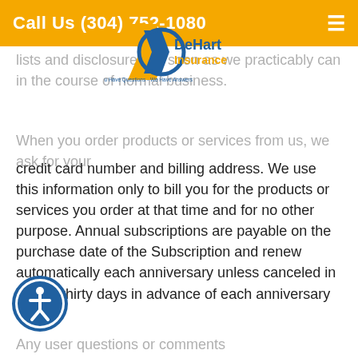Call Us (304) 752-1080
[Figure (logo): DeHart Insurance logo with blue and orange design and tagline 'You Have Questions - We Have Answers']
lists and disclosures as soon as we practicably can in the course of normal business.
When you order products or services from us, we ask for your credit card number and billing address. We use this information only to bill you for the products or services you order at that time and for no other purpose. Annual subscriptions are payable on the purchase date of the Subscription and renew automatically each anniversary unless canceled in writing thirty days in advance of each anniversary date.
[Figure (illustration): Blue circular accessibility icon with person silhouette]
Any user questions or comments